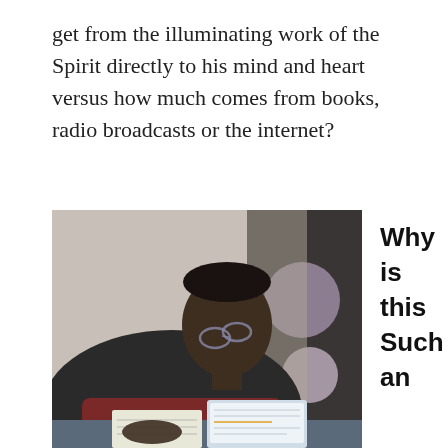get from the illuminating work of the Spirit directly to his mind and heart versus how much comes from books, radio broadcasts or the internet?
[Figure (photo): A man wearing glasses leaning over a desk, writing in a notebook with a tablet/laptop open in front of him, with a curtain featuring circular patterns in the background.]
Why is this Such an